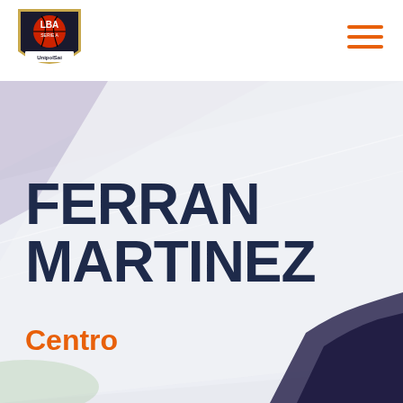[Figure (logo): LBA Serie A UnipolSai basketball league logo — shield shape with basketball, gold border]
[Figure (illustration): Decorative background with lavender/purple diagonal triangle in upper area, light gray/white gradient main area, dark purple silhouette shape at lower right corner, light green tint at lower left]
FERRAN MARTINEZ
Centro